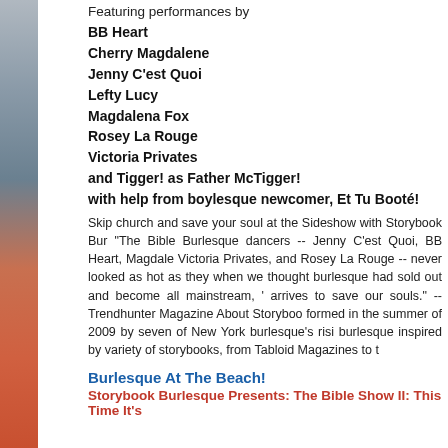Featuring performances by
BB Heart
Cherry Magdalene
Jenny C'est Quoi
Lefty Lucy
Magdalena Fox
Rosey La Rouge
Victoria Privates
and Tigger! as Father McTigger!
with help from boylesque newcomer, Et Tu Booté!
Skip church and save your soul at the Sideshow with Storybook Bur... "The Bible Burlesque dancers -- Jenny C'est Quoi, BB Heart, Magdale... Victoria Privates, and Rosey La Rouge -- never looked as hot as they... when we thought burlesque had sold out and become all mainstream, '... arrives to save our souls." --Trendhunter Magazine About Storyboo... formed in the summer of 2009 by seven of New York burlesque's risi... burlesque inspired by variety of storybooks, from Tabloid Magazines to t...
Burlesque At The Beach!
Storybook Burlesque Presents: The Bible Show II: This Time It's...